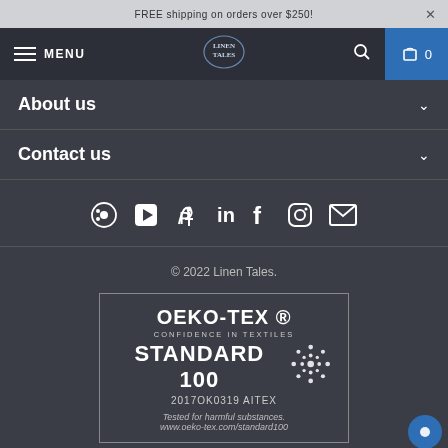FREE shipping on orders over $250!
MENU | Linen Tales | 🔍 | 🛒 0
About us
Contact us
[Figure (infographic): Social media icons row: Spotify, YouTube, Pinterest, LinkedIn, Facebook, Instagram, Email]
© 2022 Linen Tales.
[Figure (logo): OEKO-TEX® CONFIDENCE IN TEXTILES STANDARD 100 2017OK0319 AITEX. Tested for harmful substances. www.oeko-tex.com/standard100]